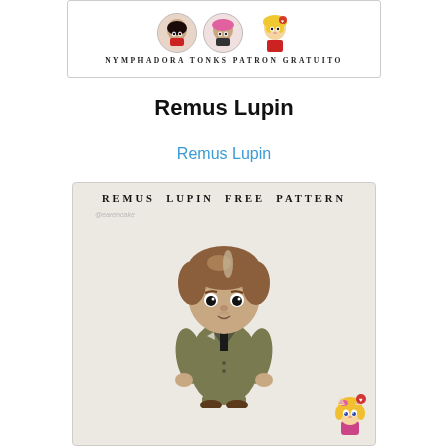[Figure (illustration): Nymphadora Tonks crochet doll thumbnail strip with two character images and text 'NYMPHADORA TONKS PATRON GRATUITO' and a logo character on the right]
Remus Lupin
Remus Lupin
[Figure (photo): Photo of a crocheted amigurumi doll of Remus Lupin wearing a tan/olive suit, with brown hair and black button eyes. Text at top reads 'REMUS LUPIN FREE PATTERN' with watermark '@earencake'. A small anime-style blonde girl character is in bottom right corner.]